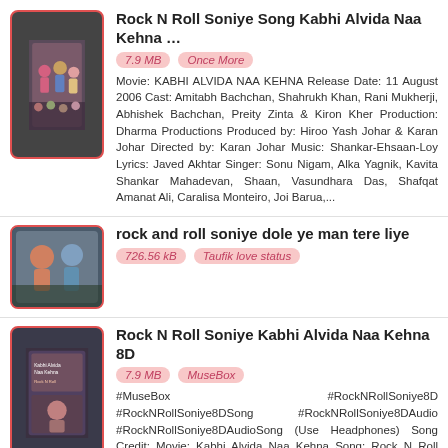[Figure (photo): Thumbnail image of Kabhi Alvida Naa Kehna movie still with people in colorful outfits]
Rock N Roll Soniye Song Kabhi Alvida Naa Kehna …
7.9 MB   Once More
Movie: KABHI ALVIDA NAA KEHNA Release Date: 11 August 2006 Cast: Amitabh Bachchan, Shahrukh Khan, Rani Mukherji, Abhishek Bachchan, Preity Zinta & Kiron Kher Production: Dharma Productions Produced by: Hiroo Yash Johar & Karan Johar Directed by: Karan Johar Music: Shankar-Ehsaan-Loy Lyrics: Javed Akhtar Singer: Sonu Nigam, Alka Yagnik, Kavita Shankar Mahadevan, Shaan, Vasundhara Das, Shafqat Amanat Ali, Caralisa Monteiro, Joi Barua,...
[Figure (photo): Thumbnail image of rock and roll soniye dole ye man tere liye video]
rock and roll soniye dole ye man tere liye
726.56 kB   Taufik love status
[Figure (photo): Thumbnail image of Rock N Roll Soniye Kabhi Alvida Naa Kehna 8D MuseBox]
Rock N Roll Soniye Kabhi Alvida Naa Kehna 8D
7.9 MB   MuseBox
#MuseBox #RockNRollSoniye8D #RockNRollSoniye8DSong #RockNRollSoniye8DAudio #RockNRollSoniye8DAudioSong (Use Headphones) Song Credit: Movie: Kabhi Alvida Naa Kehna Song: Rock N Roll Soniye Singer: Shankar Mahadevan, Shaan, Mahalakshmi Iyer Lyrics: Javed Akhtar Music Composer: Shankar Mahadevan, Ehsaan Noorani, Loy Mendonsa Music Label: Sony Music Entertainment India Pvt....